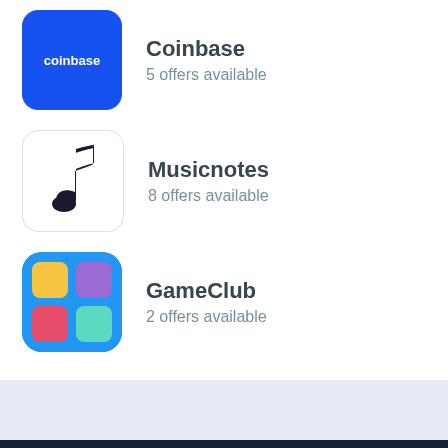[Figure (logo): Coinbase blue logo with white text]
Coinbase
5 offers available
[Figure (logo): Musicnotes musical note icon]
Musicnotes
8 offers available
[Figure (logo): GameClub colorful grid icon]
GameClub
2 offers available
[Figure (logo): Rakuten R flame logo in dark footer]